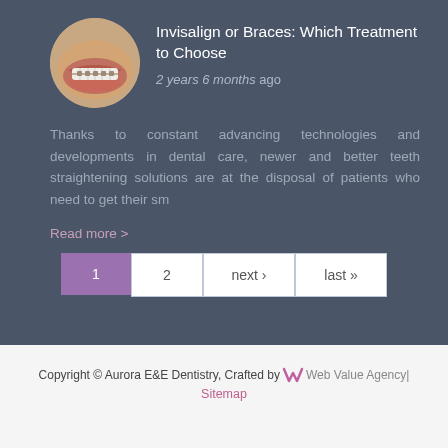[Figure (photo): Circular thumbnail photo of teeth/braces close-up]
Invisalign or Braces: Which Treatment to Choose
2 years 6 months ago
Thanks to constant advancing technologies and developments in dental care, newer and better teeth straightening solutions are at the disposal of patients who need to get their sm
Read more >
1  2  next ›  last »
Copyright © Aurora E&E Dentistry, Crafted by W Web Value Agency | Sitemap